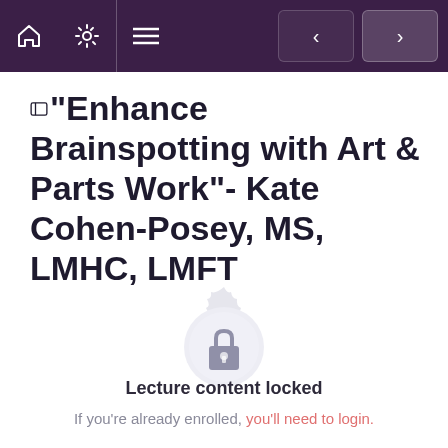Navigation bar with home, settings, menu icons and prev/next buttons
"Enhance Brainspotting with Art & Parts Work"- Kate Cohen-Posey, MS, LMHC, LMFT
[Figure (illustration): A circular ornate badge/seal with a padlock icon in the center, indicating locked content]
Lecture content locked
If you're already enrolled, you'll need to login.